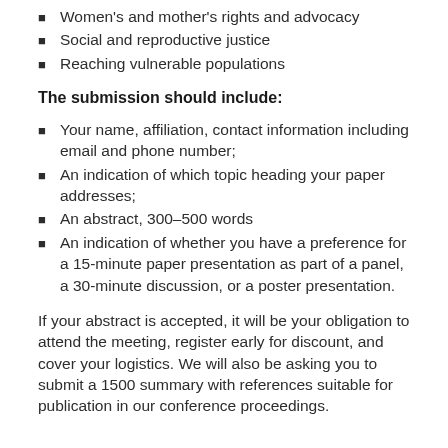Women's and mother's rights and advocacy
Social and reproductive justice
Reaching vulnerable populations
The submission should include:
Your name, affiliation, contact information including email and phone number;
An indication of which topic heading your paper addresses;
An abstract, 300–500 words
An indication of whether you have a preference for a 15-minute paper presentation as part of a panel, a 30-minute discussion, or a poster presentation.
If your abstract is accepted, it will be your obligation to attend the meeting, register early for discount, and cover your logistics. We will also be asking you to submit a 1500 summary with references suitable for publication in our conference proceedings.